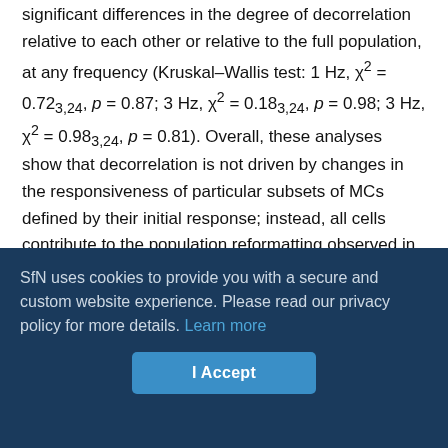significant differences in the degree of decorrelation relative to each other or relative to the full population, at any frequency (Kruskal–Wallis test: 1 Hz, χ² = 0.72₃,₂₄, p = 0.87; 3 Hz, χ² = 0.18₃,₂₄, p = 0.98; 3 Hz, χ² = 0.98₃,₂₄, p = 0.81). Overall, these analyses show that decorrelation is not driven by changes in the responsiveness of particular subsets of MCs defined by their initial response; instead, all cells contribute to the population reformatting observed in our datasets.
Glomeruli are the functional unit of odor representations at the level of OB inputs, and each MC or TC has a single apical dendrite that branches heavily in one glomerulus and is the sole source of excitatory synaptic input for that cell (Mombaerts et al., 1996; Schoppa and Westbrook, 2001; Wachowiak et al., 2004;
SfN uses cookies to provide you with a secure and custom website experience. Please read our privacy policy for more details. Learn more